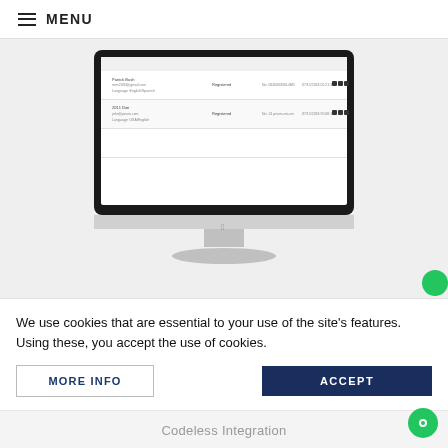MENU
[Figure (screenshot): An Apple iMac desktop computer displaying a web application interface with a data table showing user records. The table has columns for user information, status (Registered), and action icons. The iMac is shown on a light gray background.]
We use cookies that are essential to your use of the site's features. Using these, you accept the use of cookies.
MORE INFO
ACCEPT
Codeless Integration